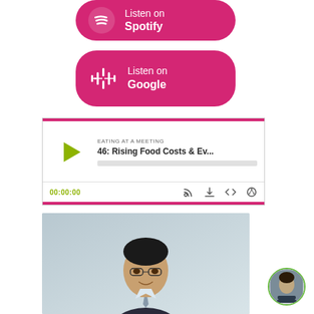[Figure (illustration): Pink rounded button with Spotify logo icon and text 'Listen on Spotify']
[Figure (illustration): Pink rounded button with Google Podcasts icon and text 'Listen on Google']
[Figure (screenshot): Podcast player widget showing episode '46: Rising Food Costs & Ev...' from 'EATING AT A MEETING', with play button, progress bar, timestamp 00:00:00, and control icons (RSS, download, embed, share)]
[Figure (photo): Professional headshot photo of a man wearing glasses and a dark suit with tie, smiling, on a light blue-gray background. Watermark text partially visible.]
[Figure (photo): Small circular avatar thumbnail of a woman in a dark blazer with arms crossed, with a green border]